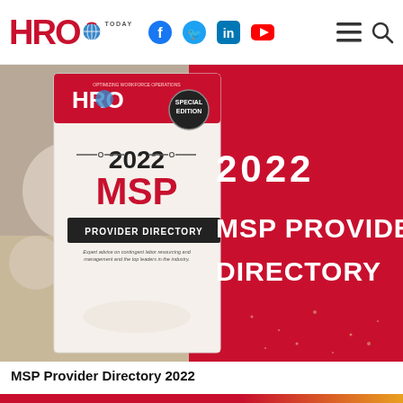HRO TODAY — navbar with logo and social media icons
[Figure (illustration): HRO Today 2022 MSP Provider Directory special edition magazine cover displayed against a red and glittery background. The cover shows '2022 MSP' in large text and 'PROVIDER DIRECTORY' below. On the right side of the banner, large white text reads '2022 MSP PROVIDER DIRECTORY'.]
MSP Provider Directory 2022